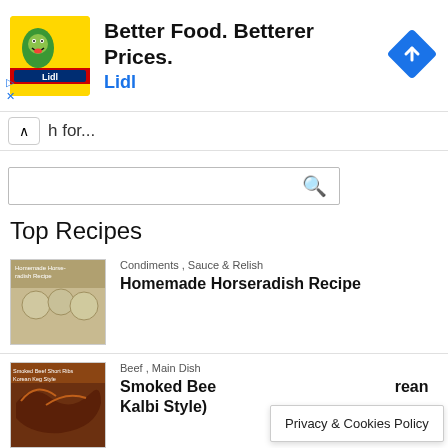[Figure (screenshot): Lidl advertisement banner with yellow square logo (Lidl mascot), text 'Better Food. Betterer Prices.' and 'Lidl' in blue, and a blue diamond navigation icon on the right.]
h for...
[Figure (screenshot): Search input box with a magnifying glass icon on the right.]
Top Recipes
[Figure (photo): Thumbnail image of homemade horseradish jars.]
Condiments , Sauce & Relish
Homemade Horseradish Recipe
[Figure (photo): Thumbnail image of smoked beef short ribs.]
Beef , Main Dish
Smoked Beef Short Ribs Recipe (Korean Kalbi Style)
Privacy & Cookies Policy